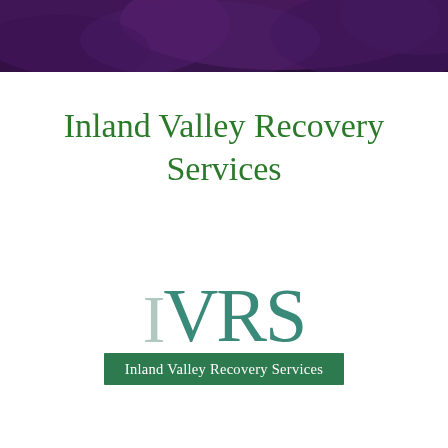[Figure (illustration): Dark purple/violet cloudy sky background banner across the top of the page]
Inland Valley Recovery Services
[Figure (logo): IVRS logo with large stylized letters 'IVRS' above a green banner reading 'Inland Valley Recovery Services']